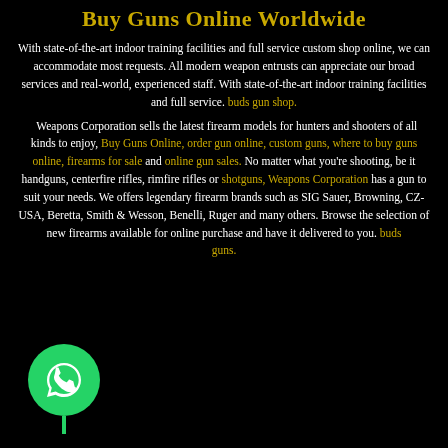Buy Guns Online Worldwide
With state-of-the-art indoor training facilities and full service custom shop online, we can accommodate most requests. All modern weapon entrusts can appreciate our broad services and real-world, experienced staff. With state-of-the-art indoor training facilities and full service. buds gun shop.
Weapons Corporation sells the latest firearm models for hunters and shooters of all kinds to enjoy, Buy Guns Online, order gun online, custom guns, where to buy guns online, firearms for sale and online gun sales. No matter what you're shooting, be it handguns, centerfire rifles, rimfire rifles or shotguns, Weapons Corporation has a gun to suit your needs. We offers legendary firearm brands such as SIG Sauer, Browning, CZ-USA, Beretta, Smith & Wesson, Benelli, Ruger and many others. Browse the selection of new firearms available for online purchase and have it delivered to you. buds guns.
[Figure (logo): Green WhatsApp logo circle with phone handset icon and a small stem below]